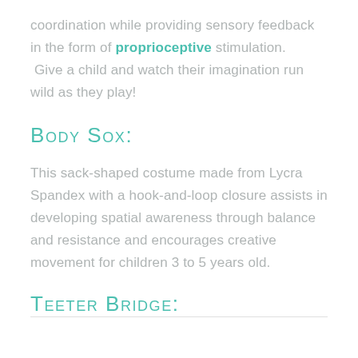coordination while providing sensory feedback in the form of proprioceptive stimulation.  Give a child and watch their imagination run wild as they play!
Body Sox:
This sack-shaped costume made from Lycra Spandex with a hook-and-loop closure assists in developing spatial awareness through balance and resistance and encourages creative movement for children 3 to 5 years old.
Teeter Bridge: